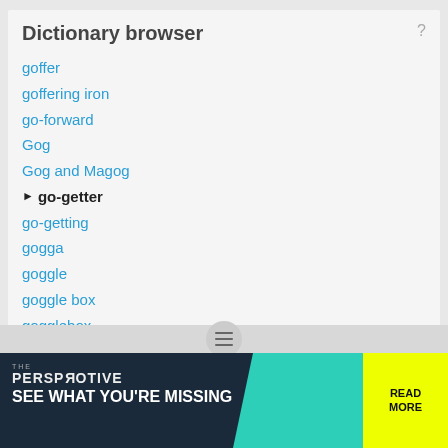Dictionary browser
goffer
goffering iron
go-forward
Gog
Gog and Magog
go-getter (current)
go-getting
gogga
goggle
goggle box
gogglebox
goggled
Full browser
go-fer
[Figure (screenshot): Advertisement banner: THE PERSPECTIVE - SEE WHAT YOU'RE MISSING - READ MORE]
[Figure (screenshot): Hamburger menu button (scroll to top indicator)]